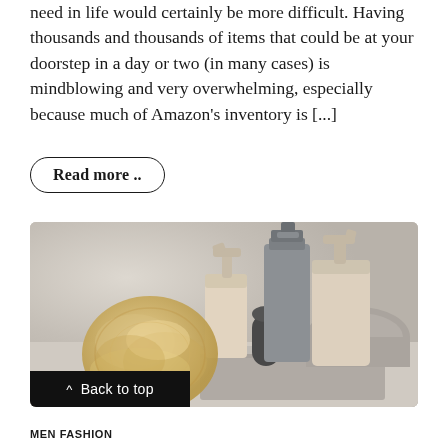need in life would certainly be more difficult. Having thousands and thousands of items that could be at your doorstep in a day or two (in many cases) is mindblowing and very overwhelming, especially because much of Amazon's inventory is [...]
Read more ..
[Figure (photo): Bath and personal care items arranged on a white surface: a fluffy beige loofah sponge, folded gray towels, beige pump dispenser bottles, a tall gray bottle, and a small dark cylinder bottle.]
Back to top
MEN FASHION